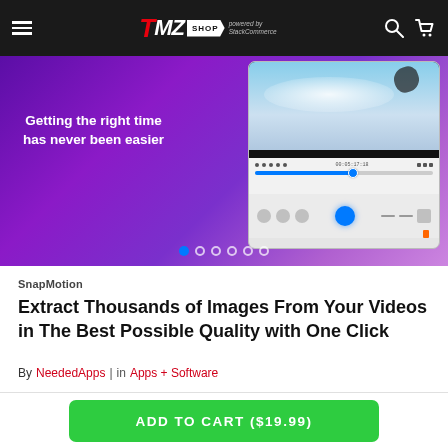TMZ SHOP powered by StackCommerce
[Figure (screenshot): Product image carousel showing SnapMotion app interface on macOS with purple gradient background. Text reads: Getting the right time has never been easier. Shows video timeline and controls UI. Carousel dots at bottom.]
SnapMotion
Extract Thousands of Images From Your Videos in The Best Possible Quality with One Click
By NeededApps | in Apps + Software
ADD TO CART ($19.99)